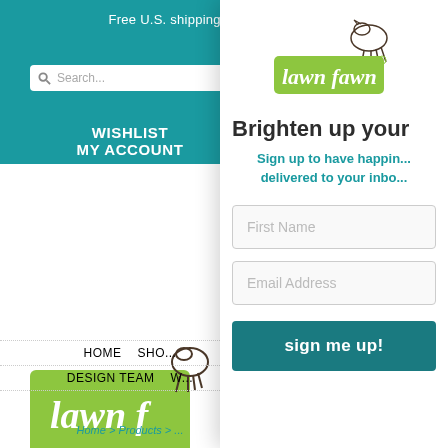Free U.S. shipping for orders over $75
Search...
WISHLIST
MY ACCOUNT
[Figure (logo): Lawn Fawn logo - green rectangle with white cursive text 'lawn fawn' and a small deer illustration]
HOME   SHO...
DESIGN TEAM   W...
Home > Products > ...
[Figure (logo): Lawn Fawn modal logo - small deer with green rectangle and cursive 'lawn fawn' text]
Brighten up your
Sign up to have happin... delivered to your inbo...
First Name
Email Address
sign me up!